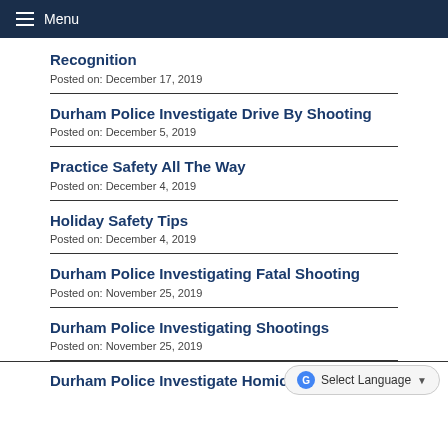Menu
Recognition
Posted on: December 17, 2019
Durham Police Investigate Drive By Shooting
Posted on: December 5, 2019
Practice Safety All The Way
Posted on: December 4, 2019
Holiday Safety Tips
Posted on: December 4, 2019
Durham Police Investigating Fatal Shooting
Posted on: November 25, 2019
Durham Police Investigating Shootings
Posted on: November 25, 2019
Durham Police Investigate Homicide